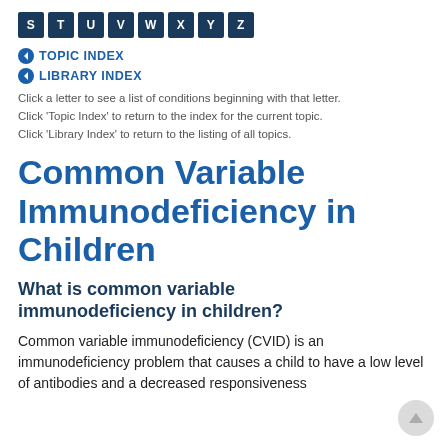[Figure (other): Alphabet navigation bar showing letters S T U V W X Y Z in dark navy square buttons]
◀ TOPIC INDEX
◀ LIBRARY INDEX
Click a letter to see a list of conditions beginning with that letter. Click 'Topic Index' to return to the index for the current topic. Click 'Library Index' to return to the listing of all topics.
Common Variable Immunodeficiency in Children
What is common variable immunodeficiency in children?
Common variable immunodeficiency (CVID) is an immunodeficiency problem that causes a child to have a low level of antibodies and a decreased responsiveness